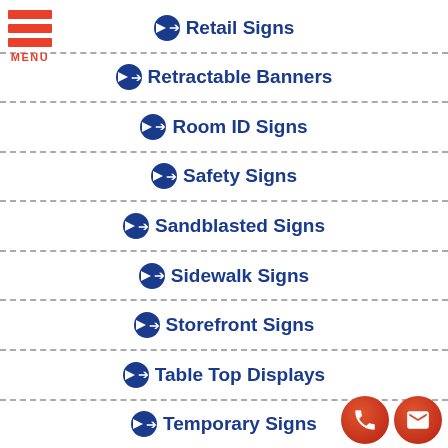[Figure (other): Hamburger menu icon with three orange bars and MENU label]
Retail Signs
Retractable Banners
Room ID Signs
Safety Signs
Sandblasted Signs
Sidewalk Signs
Storefront Signs
Table Top Displays
Temporary Signs
[Figure (other): Phone and mail contact icon buttons (orange circles) in bottom right corner]